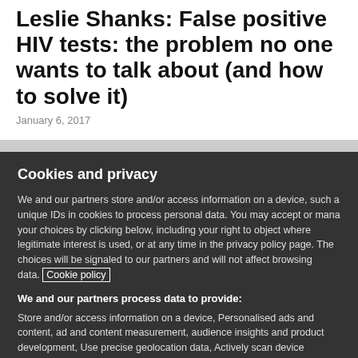Leslie Shanks: False positive HIV tests: the problem no one wants to talk about (and how to solve it)
January 6, 2017
Cookies and privacy
We and our partners store and/or access information on a device, such as unique IDs in cookies to process personal data. You may accept or manage your choices by clicking below, including your right to object where legitimate interest is used, or at any time in the privacy policy page. These choices will be signaled to our partners and will not affect browsing data. Cookie policy
We and our partners process data to provide:
Store and/or access information on a device, Personalised ads and content, ad and content measurement, audience insights and product development, Use precise geolocation data, Actively scan device characteristics for identification
List of Partners (vendors)
I Accept